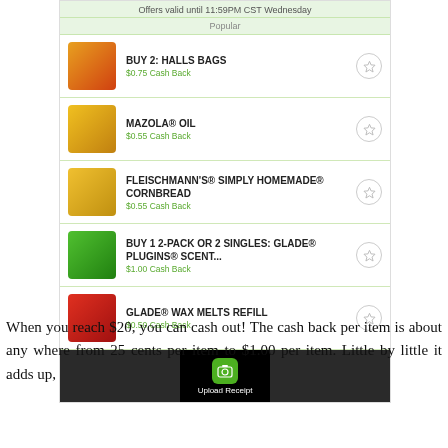[Figure (screenshot): Mobile app screenshot showing cashback offers: BUY 2: HALLS BAGS ($0.75 Cash Back), MAZOLA® OIL ($0.55 Cash Back), FLEISCHMANN'S® SIMPLY HOMEMADE® CORNBREAD ($0.55 Cash Back), BUY 1 2-PACK OR 2 SINGLES: GLADE® PLUGINS® SCENT... ($1.00 Cash Back), GLADE® WAX MELTS REFILL ($0.50 Cash Back), with Upload Receipt button at bottom. Header says Offers valid until 11:59PM CST Wednesday.]
When you reach $20, you can cash out! The cash back per item is about any where from 25 cents per item to $1.00 per item. Little by little it adds up,